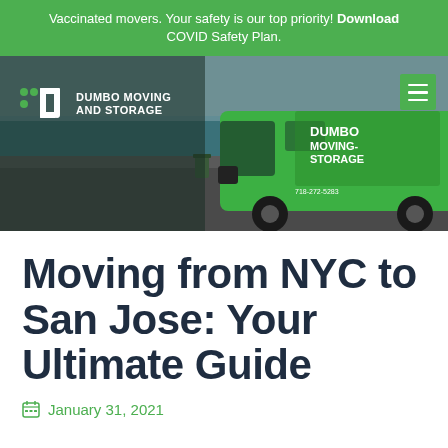Vaccinated movers. Your safety is our top priority! Download COVID Safety Plan.
[Figure (screenshot): Dumbo Moving and Storage website header showing a green company van parked near a waterfront, with the company logo and name on the left and a green hamburger menu button on the right.]
Moving from NYC to San Jose: Your Ultimate Guide
January 31, 2021